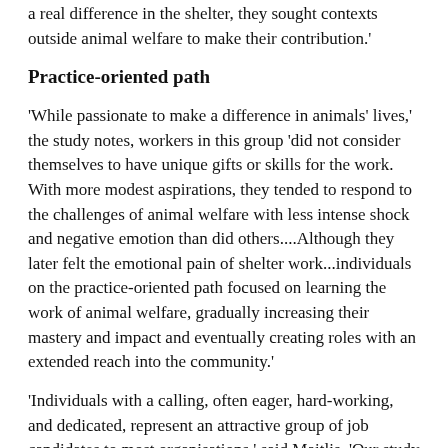a real difference in the shelter, they sought contexts outside animal welfare to make their contribution.'
Practice-oriented path
'While passionate to make a difference in animals' lives,' the study notes, workers in this group 'did not consider themselves to have unique gifts or skills for the work. With more modest aspirations, they tended to respond to the challenges of animal welfare with less intense shock and negative emotion than did others....Although they later felt the emotional pain of shelter work...individuals on the practice-oriented path focused on learning the work of animal welfare, gradually increasing their mastery and impact and eventually creating roles with an extended reach into the community.'
'Individuals with a calling, often eager, hard-working, and dedicated, represent an attractive group of job candidates to most organisations,' said Maitlis. 'Our study found that called employees went far beyond the call of duty: they put in unpaid hours, volunteered for the most difficult shifts, were diligent in their care, and brought new ideas. However,